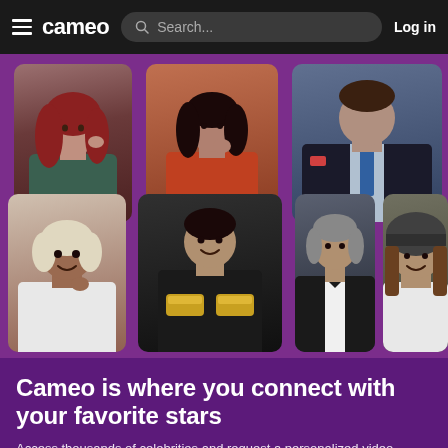cameo  Search...  Log in
[Figure (screenshot): Cameo website screenshot showing celebrity photo grid with 7 celebrity photos arranged in two rows on a purple background. Top row shows a red-haired woman, a woman in orange, and a man in a suit. Bottom row shows a woman with white hair, a man holding gold shoes, a man in a tuxedo, and a man in a sports helmet.]
Cameo is where you connect with your favorite stars
Access thousands of celebrities and request a personalized video message for any occasion.